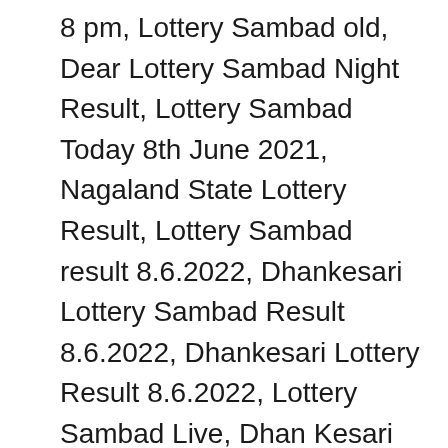8 pm, Lottery Sambad old, Dear Lottery Sambad Night Result, Lottery Sambad Today 8th June 2021, Nagaland State Lottery Result, Lottery Sambad result 8.6.2022, Dhankesari Lottery Sambad Result 8.6.2022, Dhankesari Lottery Result 8.6.2022, Lottery Sambad Live, Dhan Kesari lottery, Lottery Sambad morning 8.6.2022, Lottery Sambad Today result, Dear Lottery Result Today 8.6.2022, Dear Lottery Result Today 8pm, Aajkal Lottery Sambad 8.6.2022, Dhan Kesari lottery result, Night Lottery Sambad 8.6.22.